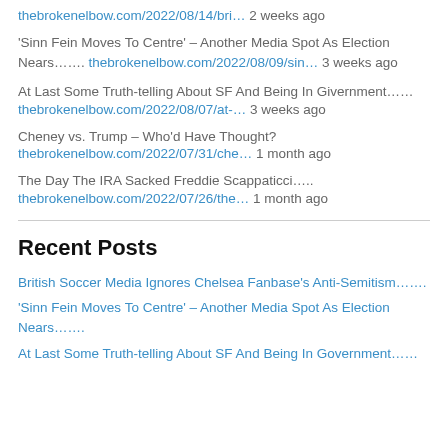thebrokenelbow.com/2022/08/14/bri… 2 weeks ago
'Sinn Fein Moves To Centre' – Another Media Spot As Election Nears……. thebrokenelbow.com/2022/08/09/sin… 3 weeks ago
At Last Some Truth-telling About SF And Being In Givernment…… thebrokenelbow.com/2022/08/07/at-… 3 weeks ago
Cheney vs. Trump – Who'd Have Thought? thebrokenelbow.com/2022/07/31/che… 1 month ago
The Day The IRA Sacked Freddie Scappaticci….. thebrokenelbow.com/2022/07/26/the… 1 month ago
Recent Posts
British Soccer Media Ignores Chelsea Fanbase's Anti-Semitism…….
'Sinn Fein Moves To Centre' – Another Media Spot As Election Nears…….
At Last Some Truth-telling About SF And Being In Government……